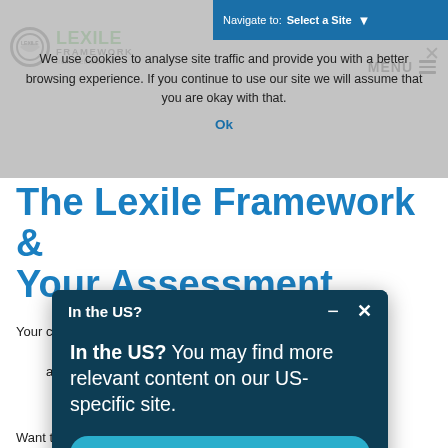LEXILE FRAMEWORK from MetaMetrics
Navigate to: Select a Site
MENU
We use cookies to analyse site traffic and provide you with a better browsing experience. If you continue to use our site we will assume that you are okay with that.
Ok
The Lexile Framework & Your Assessment
Your customised score is a reading measurement that is accurately linked to a Lexile measure. The Lexile Framework measures readers and texts on the same scale. Your assessment provider has developed the assessment so that it measures the Lexile scale. Rest assured that your score and Lexile measure can help them
[Figure (screenshot): Modal popup with dark teal background. Header reads 'In the US?' with minimize and close buttons. Body text reads 'In the US? You may find more relevant content on our US-specific site.' with a button 'GO TO METAMETRICSINC.COM']
Want to d